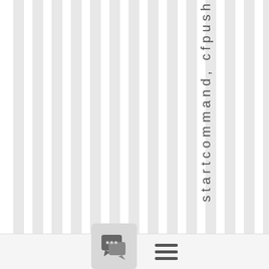[Figure (other): Vertical striped background pattern with alternating white and light gray vertical bars on the left two-thirds of the page]
startcommand, cfpush
[Figure (other): Bottom toolbar with a chat/comment icon button on the left and a hamburger menu icon on the right]